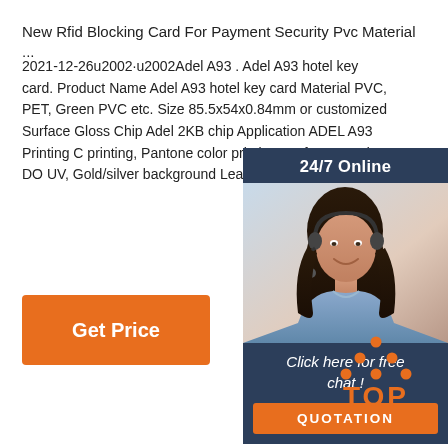New Rfid Blocking Card For Payment Security Pvc Material ...
2021-12-26u2002·u2002Adel A93 . Adel A93 hotel key card. Product Name Adel A93 hotel key card Material PVC, PET, Green PVC etc. Size 85.5x54x0.84mm or customized Surface Gloss Chip Adel 2KB chip Application ADEL A93 Printing C printing, Pantone color printing Crafts QR code, DO UV, Gold/silver background Lead time normally 7-10
[Figure (photo): Customer service representative woman with headset smiling, with 24/7 Online chat widget overlay showing 'Click here for free chat!' and QUOTATION button]
Get Price
[Figure (logo): TOP logo with orange dots arranged in triangle above the word TOP in orange]